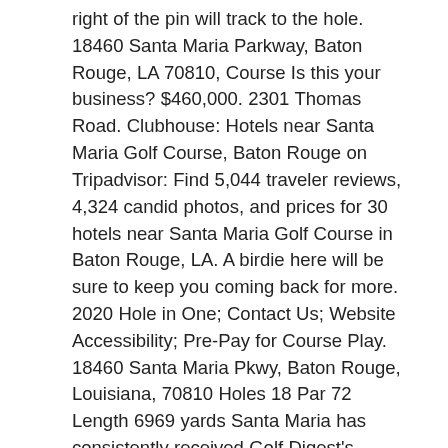right of the pin will track to the hole. 18460 Santa Maria Parkway, Baton Rouge, LA 70810, Course Is this your business? $460,000. 2301 Thomas Road. Clubhouse: Hotels near Santa Maria Golf Course, Baton Rouge on Tripadvisor: Find 5,044 traveler reviews, 4,324 candid photos, and prices for 30 hotels near Santa Maria Golf Course in Baton Rouge, LA. A birdie here will be sure to keep you coming back for more. 2020 Hole in One; Contact Us; Website Accessibility; Pre-Pay for Course Play. 18460 Santa Maria Pkwy, Baton Rouge, Louisiana, 70810 Holes 18 Par 72 Length 6969 yards Santa Maria has consistently received Golf Digest's highest ranking for a municipal course. The prudent second shot is to lay up short and right for the best angle of approach into a two tiered, sloping green. The 18-hole course measures 6,969 yards in length from the championship tees. Contingent. However, the